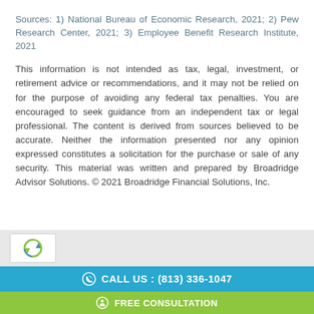Sources: 1) National Bureau of Economic Research, 2021; 2) Pew Research Center, 2021; 3) Employee Benefit Research Institute, 2021
This information is not intended as tax, legal, investment, or retirement advice or recommendations, and it may not be relied on for the purpose of avoiding any federal tax penalties. You are encouraged to seek guidance from an independent tax or legal professional. The content is derived from sources believed to be accurate. Neither the information presented nor any opinion expressed constitutes a solicitation for the purchase or sale of any security. This material was written and prepared by Broadridge Advisor Solutions. © 2021 Broadridge Financial Solutions, Inc.
[Figure (logo): reCAPTCHA logo in grey bar]
CALL US : (813) 336-1047
FREE CONSULTATION